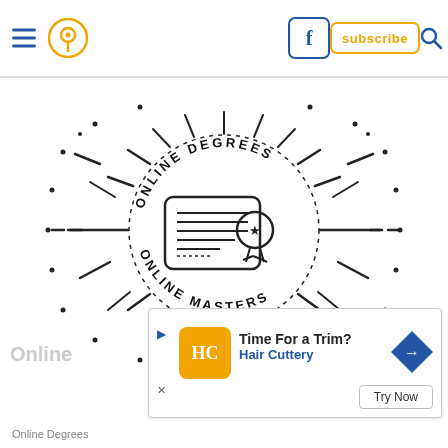Navigation header with hamburger menu, location pin, Facebook button, subscribe button, search icon
[Figure (illustration): Circular sunburst illustration with certificate/diploma icon in center. Text 'ONLINE DEGREES' arcs along top of dotted circle and 'ONLINE MASTERS' arcs along bottom. Radiating lines and dots surround the circle on a white background.]
[Figure (screenshot): Advertisement banner: Hair Cuttery ad with logo, 'Time For a Trim?' headline, 'Hair Cuttery' subtext in blue, arrow navigation icon, and 'Try Now' button. Has play and close icons on left side.]
Online
Online Degrees